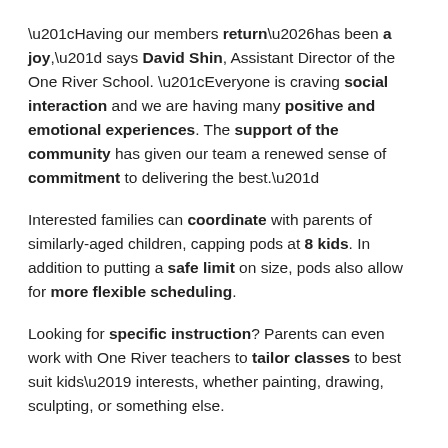“Having our members return…has been a joy,” says David Shin, Assistant Director of the One River School. “Everyone is craving social interaction and we are having many positive and emotional experiences. The support of the community has given our team a renewed sense of commitment to delivering the best.”
Interested families can coordinate with parents of similarly-aged children, capping pods at 8 kids. In addition to putting a safe limit on size, pods also allow for more flexible scheduling.
Looking for specific instruction? Parents can even work with One River teachers to tailor classes to best suit kids’ interests, whether painting, drawing, sculpting, or something else.